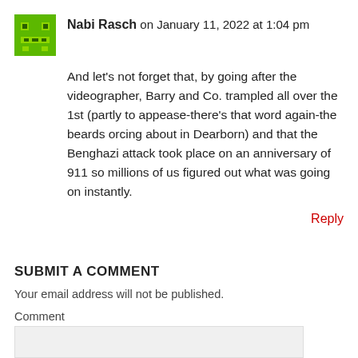[Figure (illustration): Green pixel art avatar icon with face-like features on green background]
Nabi Rasch on January 11, 2022 at 1:04 pm
And let's not forget that, by going after the videographer, Barry and Co. trampled all over the 1st (partly to appease-there's that word again-the beards orcing about in Dearborn) and that the Benghazi attack took place on an anniversary of 911 so millions of us figured out what was going on instantly.
Reply
SUBMIT A COMMENT
Your email address will not be published.
Comment